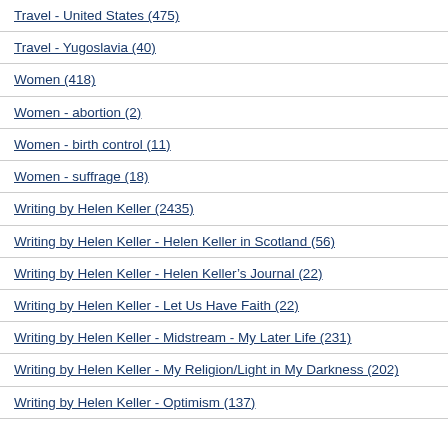Travel - United States (475)
Travel - Yugoslavia (40)
Women (418)
Women - abortion (2)
Women - birth control (11)
Women - suffrage (18)
Writing by Helen Keller (2435)
Writing by Helen Keller - Helen Keller in Scotland (56)
Writing by Helen Keller - Helen Keller's Journal (22)
Writing by Helen Keller - Let Us Have Faith (22)
Writing by Helen Keller - Midstream - My Later Life (231)
Writing by Helen Keller - My Religion/Light in My Darkness (202)
Writing by Helen Keller - Optimism (137)